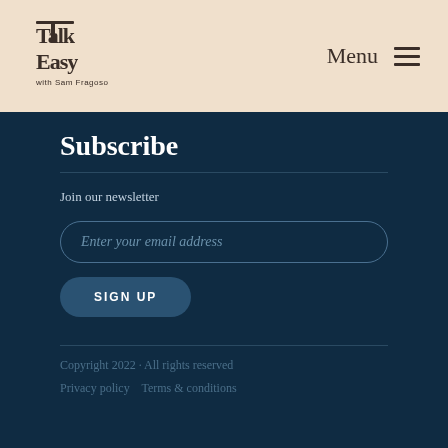Talk Easy | Menu
Subscribe
Join our newsletter
Enter your email address
SIGN UP
Copyright 2022 · All rights reserved
Privacy policy    Terms & conditions